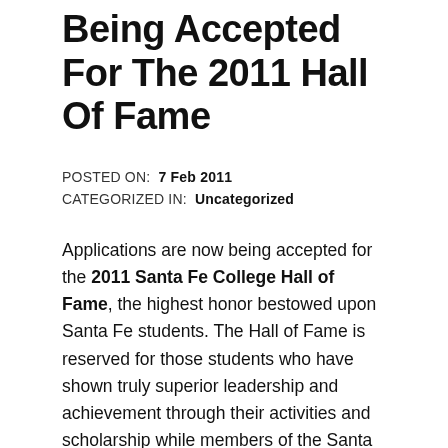Being Accepted For The 2011 Hall Of Fame
POSTED ON: 7 Feb 2011
CATEGORIZED IN: Uncategorized
Applications are now being accepted for the 2011 Santa Fe College Hall of Fame, the highest honor bestowed upon Santa Fe students. The Hall of Fame is reserved for those students who have shown truly superior leadership and achievement through their activities and scholarship while members of the Santa Fe community. Because of their involvement as student